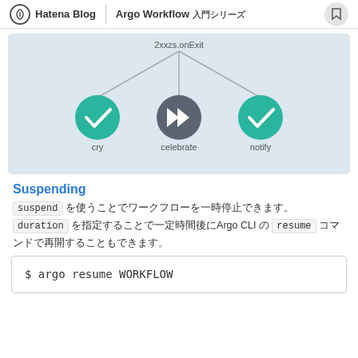Hatena Blog | Argo Workflow 入門シリーズ
[Figure (flowchart): Argo Workflow diagram showing 2xxzs.onExit node branching into three child nodes: cry (green checkmark), celebrate (dark gray fast-forward), and notify (green checkmark)]
Suspending
suspend を使うことでワークフローを一時停止できます。duration を指定することで一定時間後にArgo CLI の resume コマンドで再開することもできます。
$ argo resume WORKFLOW